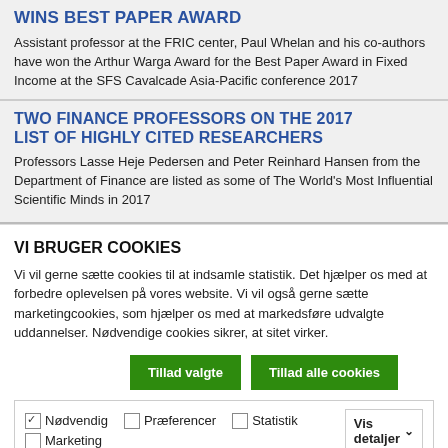WINS BEST PAPER AWARD
Assistant professor at the FRIC center, Paul Whelan and his co-authors have won the Arthur Warga Award for the Best Paper Award in Fixed Income at the SFS Cavalcade Asia-Pacific conference 2017
TWO FINANCE PROFESSORS ON THE 2017 LIST OF HIGHLY CITED RESEARCHERS
Professors Lasse Heje Pedersen and Peter Reinhard Hansen from the Department of Finance are listed as some of The World's Most Influential Scientific Minds in 2017
VI BRUGER COOKIES
Vi vil gerne sætte cookies til at indsamle statistik. Det hjælper os med at forbedre oplevelsen på vores website. Vi vil også gerne sætte marketingcookies, som hjælper os med at markedsføre udvalgte uddannelser. Nødvendige cookies sikrer, at sitet virker.
Tillad valgte | Tillad alle cookies
✓ Nødvendig  □ Præferencer  □ Statistik  □ Marketing  Vis detaljer ∨